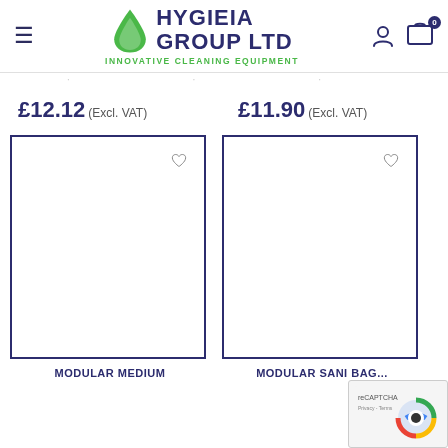[Figure (logo): Hygieia Group Ltd logo with green water drop and dark blue text, tagline: Innovative Cleaning Equipment]
£12.12 (Excl. VAT)
£11.90 (Excl. VAT)
[Figure (screenshot): Product card box with heart wishlist icon, empty white interior with navy border]
MODULAR MEDIUM
[Figure (screenshot): Product card box with heart wishlist icon, empty white interior with navy border]
MODULAR SANI BAG...